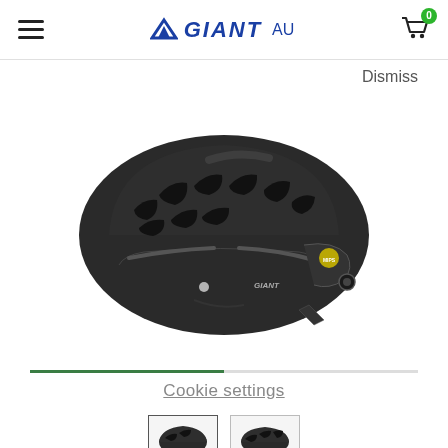GIANT AU
Dismiss
[Figure (photo): A black Giant cycling helmet with multiple ventilation channels and MIPS protection, viewed from the side.]
Cookie settings
[Figure (photo): Two small thumbnail images of the same black Giant cycling helmet from different angles.]